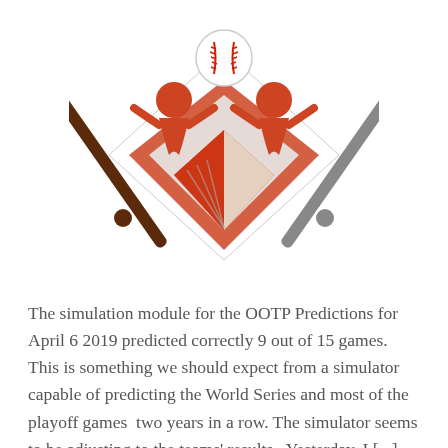[Figure (illustration): A baseball-themed illustration showing a diamond shape with crossed bats, a baseball, and stylized player figures in orange, red, black and white colors.]
The simulation module for the OOTP Predictions for April 6 2019 predicted correctly 9 out of 15 games. This is something we should expect from a simulator capable of predicting the World Series and most of the playoff games  two years in a row. The simulator seems to be adjusting to the teams' results.  Yesterday, I [...]
Continue reading